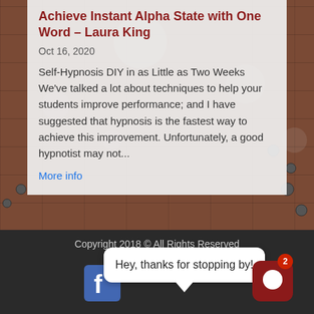[Figure (photo): Brick wall background photo with water droplets/bokeh effect]
Achieve Instant Alpha State with One Word – Laura King
Oct 16, 2020
Self-Hypnosis DIY in as Little as Two Weeks We've talked a lot about techniques to help your students improve performance; and I have suggested that hypnosis is the fastest way to achieve this improvement. Unfortunately, a good hypnotist may not...
More info
Copyright 2018 © All Rights Reserved
Hey, thanks for stopping by!